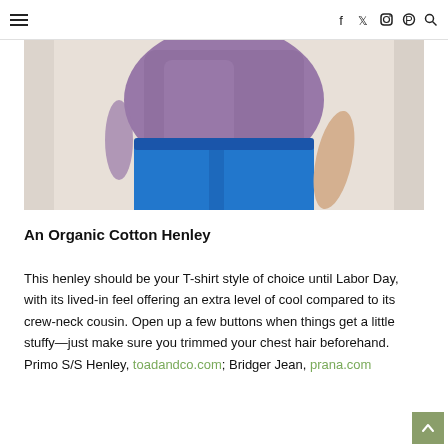≡  f  twitter  instagram  pinterest  search
[Figure (photo): Person wearing a purple/mauve henley shirt and bright blue pants, leaning against a wall, lower torso and arms visible.]
An Organic Cotton Henley
This henley should be your T-shirt style of choice until Labor Day, with its lived-in feel offering an extra level of cool compared to its crew-neck cousin. Open up a few buttons when things get a little stuffy—just make sure you trimmed your chest hair beforehand. Primo S/S Henley, toadandco.com; Bridger Jean, prana.com